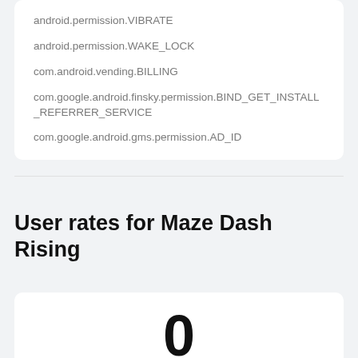android.permission.VIBRATE
android.permission.WAKE_LOCK
com.android.vending.BILLING
com.google.android.finsky.permission.BIND_GET_INSTALL_REFERRER_SERVICE
com.google.android.gms.permission.AD_ID
User rates for Maze Dash Rising
0